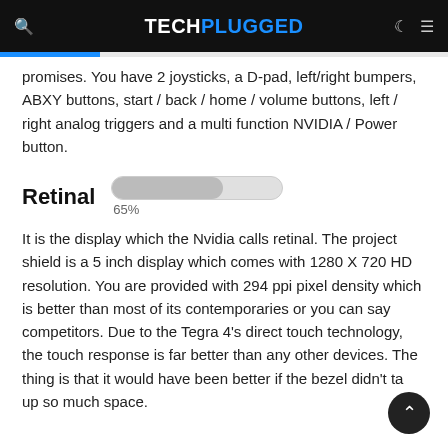TECHPLUGGED
promises. You have 2 joysticks, a D-pad, left/right bumpers, ABXY buttons, start / back / home / volume buttons, left / right analog triggers and a multi function NVIDIA / Power button.
Retinal
It is the display which the Nvidia calls retinal. The project shield is a 5 inch display which comes with 1280 X 720 HD resolution. You are provided with 294 ppi pixel density which is better than most of its contemporaries or you can say competitors. Due to the Tegra 4's direct touch technology, the touch response is far better than any other devices. The thing is that it would have been better if the bezel didn't take up so much space.